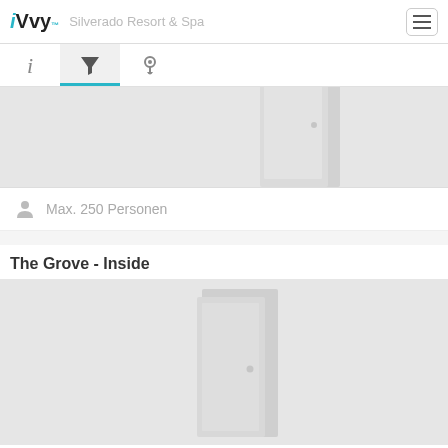iVvy - Silverado Resort & Spa
[Figure (screenshot): Navigation tab bar with info (i), filter (funnel), and location (pin) icons. Filter tab is active with blue underline.]
[Figure (photo): Gray placeholder image showing a door icon, partially cropped at top]
Max. 250 Personen
The Grove - Inside
[Figure (photo): Gray placeholder image showing a door icon for The Grove - Inside venue]